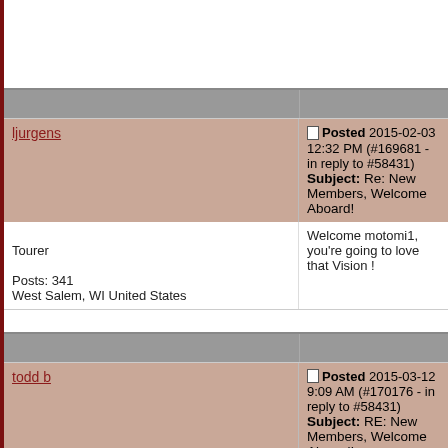ljurgens
Posted 2015-02-03 12:32 PM (#169681 - in reply to #58431)
Subject: Re: New Members, Welcome Aboard!
Welcome motomi1, you're going to love that Vision !
Tourer

Posts: 341
West Salem, WI United States
todd b
Posted 2015-03-12 9:09 AM (#170176 - in reply to #58431)
Subject: RE: New Members, Welcome Aboard!
Good Morning,

Retired US Navy ETC(SW). Westcoast Sailor. Gators, C

Proud owner of a used 2009 midnight cherry Vision Tou

I have already upgraded my air filter and added a top filt
Further mods for this weekend include WD slip on muffl
Puddle Jumper

Posts: 33
Watauga, TX United States